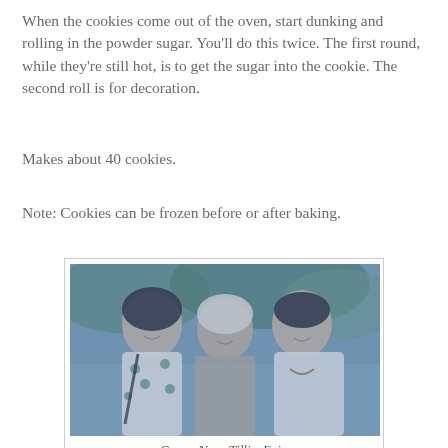When the cookies come out of the oven, start dunking and rolling in the powder sugar. You'll do this twice. The first round, while they're still hot, is to get the sugar into the cookie. The second roll is for decoration.
Makes about 40 cookies.
Note: Cookies can be frozen before or after baking.
[Figure (photo): Photograph of three women standing together outdoors, with blue/teal toned coloring. The women are smiling at the camera.]
Caron, Nana Tillie, Evie